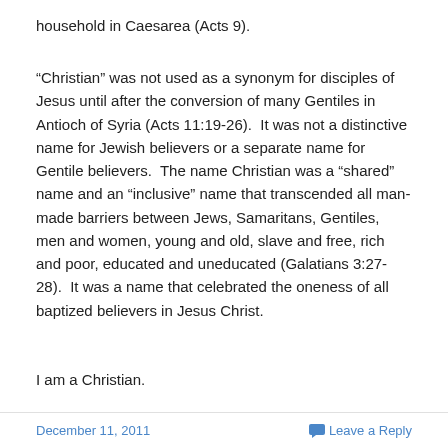household in Caesarea (Acts 9).
“Christian” was not used as a synonym for disciples of Jesus until after the conversion of many Gentiles in Antioch of Syria (Acts 11:19-26).  It was not a distinctive name for Jewish believers or a separate name for Gentile believers.  The name Christian was a “shared” name and an “inclusive” name that transcended all man-made barriers between Jews, Samaritans, Gentiles, men and women, young and old, slave and free, rich and poor, educated and uneducated (Galatians 3:27-28).  It was a name that celebrated the oneness of all baptized believers in Jesus Christ.
I am a Christian.
December 11, 2011   Leave a Reply